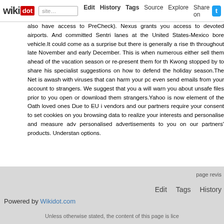wikidot | site | Edit | History | Tags | Source | Explore | Share on Twitter
also have access to PreCheck). Nexus grants you access to devoted airports. And committed Sentri lanes at the United States-Mexico border vehicle.It could come as a surprise but there is generally a rise throughout late November and early December. This is when numerous either sell them ahead of the vacation season or re-present them for the Kwong stopped by to share his specialist suggestions on how to defend the holiday season.The Net is awash with viruses that can harm your pc even send emails from your account to strangers. We suggest that you will warn you about unsafe files prior to you open or download them strangers.Yahoo is now element of the Oath loved ones Due to EU i vendors and our partners require your consent to set cookies on you browsing data to realize your interests and personalise and measure adve personalised advertisements to you on our partners' products. Understand options.
Comments: 0
Add a New Comment
page revisions | Edit | Tags | History | Powered by Wikidot.com | Unless otherwise stated, the content of this page is lice